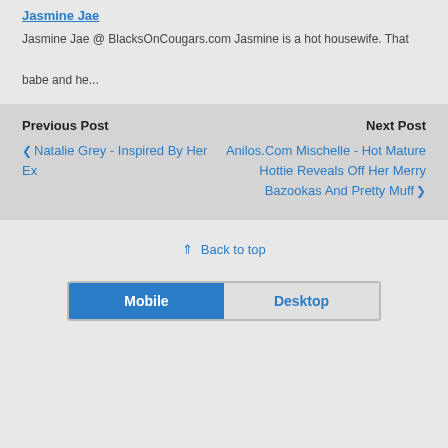Jasmine Jae
Jasmine Jae @ BlacksOnCougars.com Jasmine is a hot housewife. That babe and he...
Previous Post
❮ Natalie Grey - Inspired By Her Ex
Next Post
Anilos.Com Mischelle - Hot Mature Hottie Reveals Off Her Merry Bazookas And Pretty Muff ❯
⇑ Back to top
Mobile | Desktop